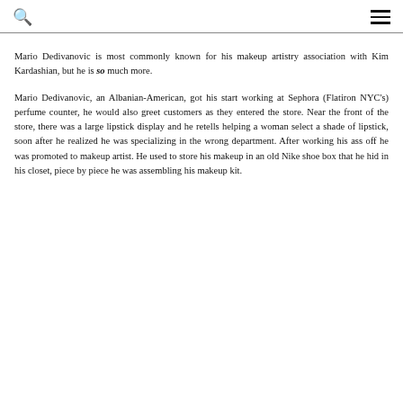[search icon] [hamburger menu]
Mario Dedivanovic is most commonly known for his makeup artistry association with Kim Kardashian, but he is so much more.
Mario Dedivanovic, an Albanian-American, got his start working at Sephora (Flatiron NYC's) perfume counter, he would also greet customers as they entered the store. Near the front of the store, there was a large lipstick display and he retells helping a woman select a shade of lipstick, soon after he realized he was specializing in the wrong department. After working his ass off he was promoted to makeup artist. He used to store his makeup in an old Nike shoe box that he hid in his closet, piece by piece he was assembling his makeup kit.